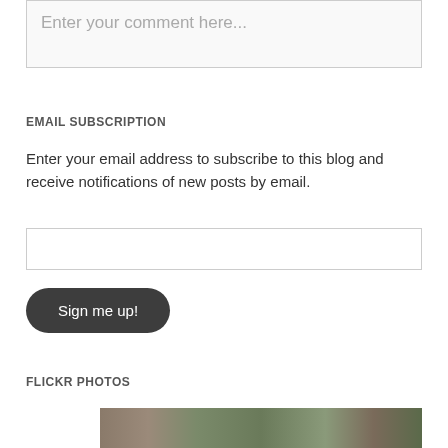Enter your comment here...
EMAIL SUBSCRIPTION
Enter your email address to subscribe to this blog and receive notifications of new posts by email.
Sign me up!
FLICKR PHOTOS
[Figure (photo): Flickr photo thumbnail showing outdoor nature/garden scene]